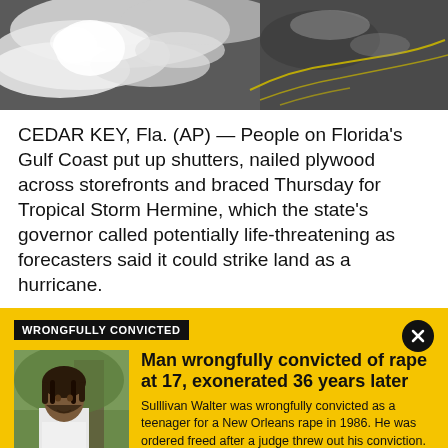[Figure (photo): Satellite image of a tropical storm system over water, grayscale with yellow highlighted coastline markings]
CEDAR KEY, Fla. (AP) — People on Florida's Gulf Coast put up shutters, nailed plywood across storefronts and braced Thursday for Tropical Storm Hermine, which the state's governor called potentially life-threatening as forecasters said it could strike land as a hurricane.
WRONGFULLY CONVICTED
[Figure (photo): Portrait photo of a man with dreadlocks wearing a white t-shirt, standing outdoors near a tree]
Man wrongfully convicted of rape at 17, exonerated 36 years later
Sulllivan Walter was wrongfully convicted as a teenager for a New Orleans rape in 1986. He was ordered freed after a judge threw out his conviction.